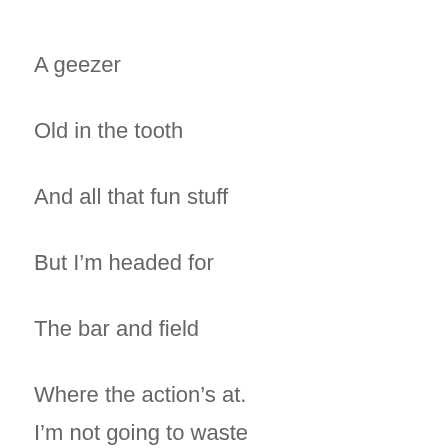A geezer
Old in the tooth
And all that fun stuff
But I'm headed for
The bar and field
Where the action's at.
I'm not going to waste